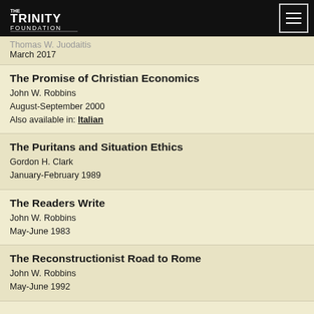The Trinity Foundation
Thomas W. Juodaitis
March 2017
The Promise of Christian Economics
John W. Robbins
August-September 2000
Also available in: Italian
The Puritans and Situation Ethics
Gordon H. Clark
January-February 1989
The Readers Write
John W. Robbins
May-June 1983
The Reconstructionist Road to Rome
John W. Robbins
May-June 1992